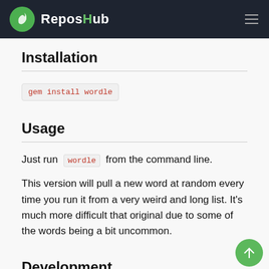ReposHub
Installation
gem install wordle
Usage
Just run wordle from the command line.
This version will pull a new word at random every time you run it from a very weird and long list. It's much more difficult that original due to some of the words being a bit uncommon.
Development
After checking out the repo, run bin/setup to install dependencies. Then, run rake spec to run the tests. You can also run...